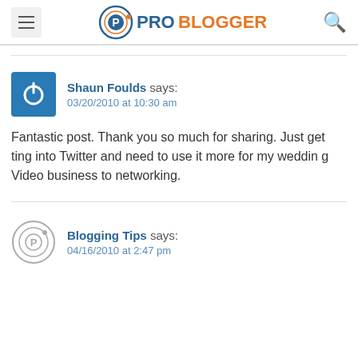ProBlogger
Shaun Foulds says: 03/20/2010 at 10:30 am
Fantastic post. Thank you so much for sharing. Just getting into Twitter and need to use it more for my wedding Video business to networking.
Blogging Tips says: 04/16/2010 at 2:47 pm